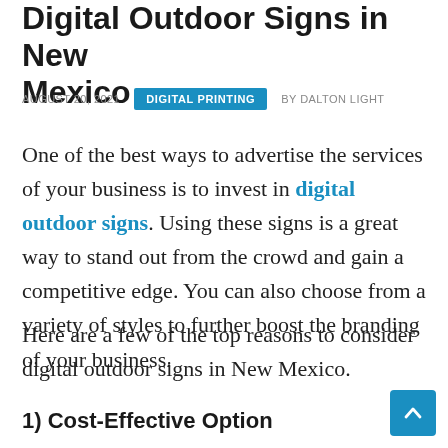Digital Outdoor Signs in New Mexico
AUGUST 20, 2021   DIGITAL PRINTING   BY DALTON LIGHT
One of the best ways to advertise the services of your business is to invest in digital outdoor signs. Using these signs is a great way to stand out from the crowd and gain a competitive edge. You can also choose from a variety of styles to further boost the branding of your business.
Here are a few of the top reasons to consider digital outdoor signs in New Mexico.
1) Cost-Effective Option